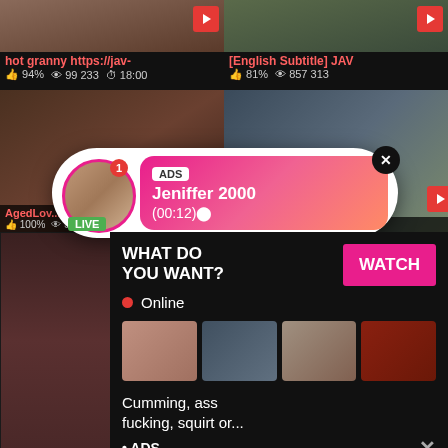[Figure (screenshot): Video thumbnail grid showing adult content website with video thumbnails, metadata, and overlaid advertisements]
hot granny https://jav-
94%  99 233  18:00
[English Subtitle] JAV
81%  857 313
AgedLov...  100%  384 525
80%  408 640
[Figure (infographic): Ad popup overlay with circular avatar, LIVE badge, notification badge, ADS label, name Jeniffer 2000, time (00:12), close button]
ADS
Jeniffer 2000
(00:12)
[Figure (infographic): Bottom ad panel: WHAT DO YOU WANT? with WATCH button, Online indicator, three thumbnails, text Cumming, ass fucking, squirt or... ADS, X close button]